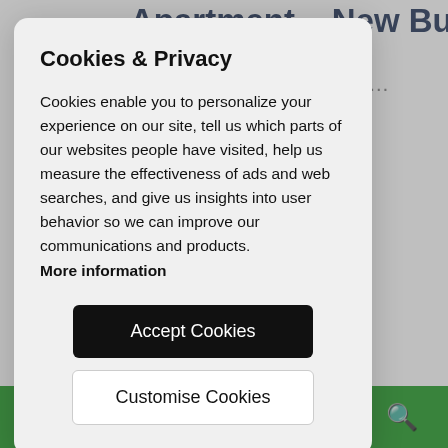Cookies & Privacy
Cookies enable you to personalize your experience on our site, tell us which parts of our websites people have visited, help us measure the effectiveness of ads and web searches, and give us insights into user behavior so we can improve our communications and products. More information
Accept Cookies
Customise Cookies